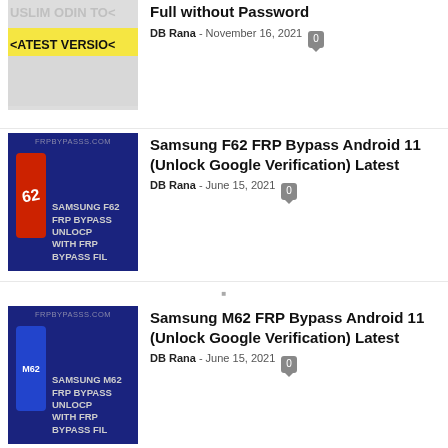[Figure (screenshot): Thumbnail for Odin Tool article - yellow banner with LATEST VERSION text on gray background]
Full without Password
DB Rana - November 16, 2021
[Figure (screenshot): Samsung F62 FRP Bypass Unlock thumbnail - dark blue background with FRPBYPASSS.COM watermark]
Samsung F62 FRP Bypass Android 11 (Unlock Google Verification) Latest
DB Rana - June 15, 2021
[Figure (screenshot): Samsung M62 FRP Bypass Unlock thumbnail - dark blue background with FRPBYPASSS.COM watermark]
Samsung M62 FRP Bypass Android 11 (Unlock Google Verification) Latest
DB Rana - June 15, 2021
[Figure (screenshot): Samsung A52 FRP Bypass thumbnail - green background with FRPBYPASSS.COM watermark]
Samsung A52 FRP Bypass Android 11 (Unlock Goog...